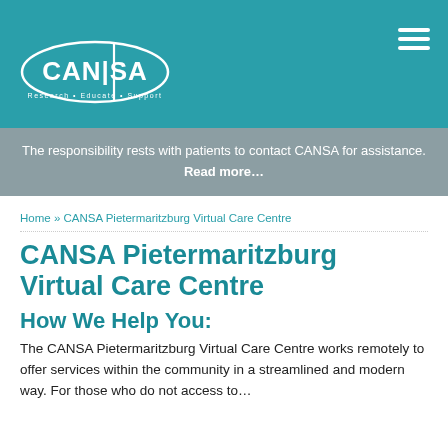CANSA — Research · Educate · Support
The responsibility rests with patients to contact CANSA for assistance. Read more…
Home » CANSA Pietermaritzburg Virtual Care Centre
CANSA Pietermaritzburg Virtual Care Centre
How We Help You:
The CANSA Pietermaritzburg Virtual Care Centre works remotely to offer services within the community in a streamlined and modern way. For those who do not access to…